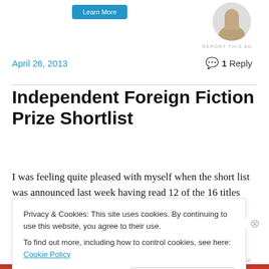[Figure (other): Top advertisement area with blue button and circular profile photo thumbnail]
REPORT THIS AD
April 26, 2013    💬 1 Reply
Independent Foreign Fiction Prize Shortlist
I was feeling quite pleased with myself when the short list was announced last week having read 12 of the 16 titles
Privacy & Cookies: This site uses cookies. By continuing to use this website, you agree to their use.
To find out more, including how to control cookies, see here: Cookie Policy
Close and accept
REPORT THIS AD